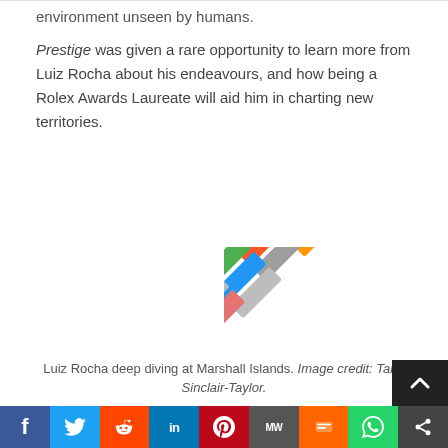environment unseen by humans.
Prestige was given a rare opportunity to learn more from Luiz Rocha about his endeavours, and how being a Rolex Awards Laureate will aid him in charting new territories.
[Figure (photo): A fan of colorful cards or booklets arranged in a diagonal/diamond pattern, featuring various colors including green, yellow, orange, red, pink, purple, blue, and grey.]
Luiz Rocha deep diving at Marshall Islands. Image credit: Tane Sinclair-Taylor.
Your relationship with the ocean was ignited at a very young age. Apart from growing up near the sea in Brazil, what is it about the ocean that holds such a
f  Twitter  Reddit  in  Pinterest  MW  Mix  WhatsApp  Share